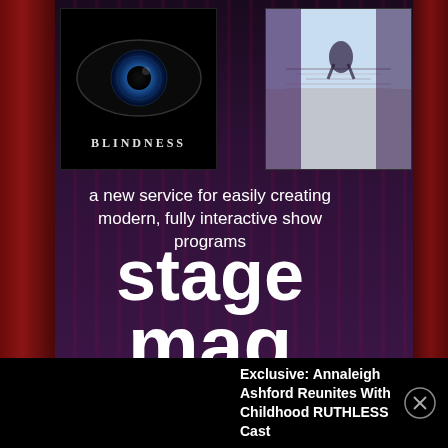[Figure (illustration): BLINDNESS show poster with large blue eye on black background and text BLINDNESS in letter-spaced caps]
[Figure (illustration): TiTANiQUE show poster with woman on ship deck and yellow stylized title text]
a new service for easily creating modern, fully interactive show programs
stage
mag
Exclusive: Annaleigh Ashford Reunites With Childhood RUTHLESS Cast